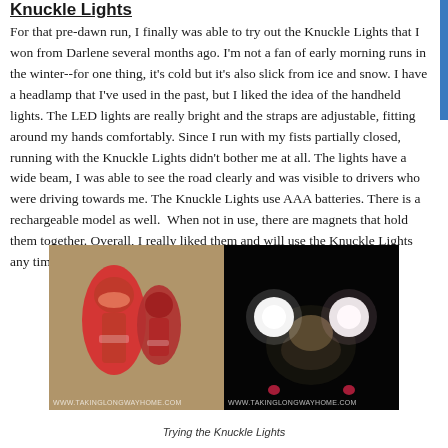Knuckle Lights
For that pre-dawn run, I finally was able to try out the Knuckle Lights that I won from Darlene several months ago. I'm not a fan of early morning runs in the winter--for one thing, it's cold but it's also slick from ice and snow. I have a headlamp that I've used in the past, but I liked the idea of the handheld lights. The LED lights are really bright and the straps are adjustable, fitting around my hands comfortably. Since I run with my fists partially closed, running with the Knuckle Lights didn't bother me at all. The lights have a wide beam, I was able to see the road clearly and was visible to drivers who were driving towards me. The Knuckle Lights use AAA batteries. There is a rechargeable model as well.  When not in use, there are magnets that hold them together. Overall, I really liked them and will use the Knuckle Lights any time I run in the dark!
[Figure (photo): Two pink Knuckle Lights devices standing upright on a surface (left photo), and a woman outdoors at night holding Knuckle Lights which glow brightly (right photo). Both photos have www.takinglongwayhome.com watermark.]
Trying the Knuckle Lights